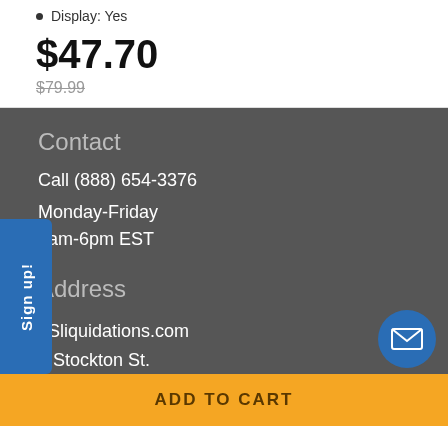Display: Yes
$47.70
$79.99
Contact
Call (888) 654-3376
Monday-Friday
8am-6pm EST
Address
eSliquidations.com
[N] Stockton St.
Jacksonville, FL 32204
ADD TO CART